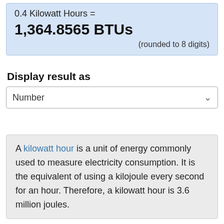0.4 Kilowatt Hours =
1,364.8565 BTUs
(rounded to 8 digits)
Display result as
Number
A kilowatt hour is a unit of energy commonly used to measure electricity consumption. It is the equivalent of using a kilojoule every second for an hour. Therefore, a kilowatt hour is 3.6 million joules.
A British thermal unit is the amount of energy required to heat a pound of water by 1 degree Fahrenheit. This can vary slightly depending on the temperature of the